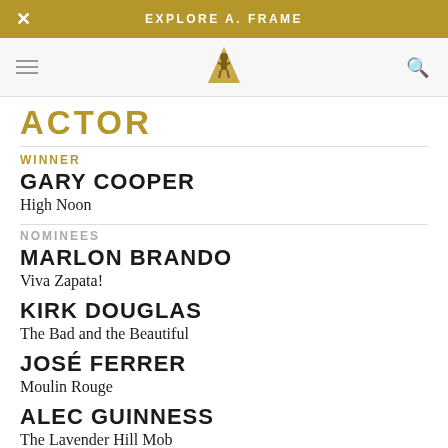EXPLORE A.FRAME
ACTOR
WINNER
GARY COOPER — High Noon
NOMINEES
MARLON BRANDO — Viva Zapata!
KIRK DOUGLAS — The Bad and the Beautiful
JOSÉ FERRER — Moulin Rouge
ALEC GUINNESS — The Lavender Hill Mob